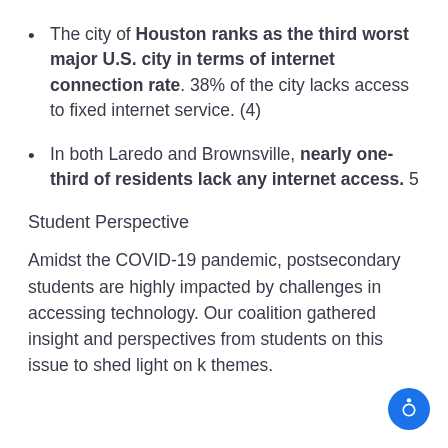The city of Houston ranks as the third worst major U.S. city in terms of internet connection rate. 38% of the city lacks access to fixed internet service. (4)
In both Laredo and Brownsville, nearly one-third of residents lack any internet access. 5
Student Perspective
Amidst the COVID-19 pandemic, postsecondary students are highly impacted by challenges in accessing technology. Our coalition gathered insight and perspectives from students on this issue to shed light on k themes.